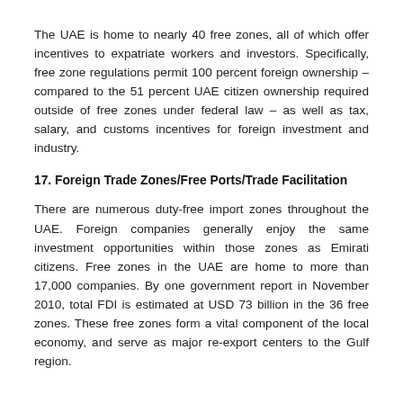The UAE is home to nearly 40 free zones, all of which offer incentives to expatriate workers and investors. Specifically, free zone regulations permit 100 percent foreign ownership – compared to the 51 percent UAE citizen ownership required outside of free zones under federal law – as well as tax, salary, and customs incentives for foreign investment and industry.
17. Foreign Trade Zones/Free Ports/Trade Facilitation
There are numerous duty-free import zones throughout the UAE. Foreign companies generally enjoy the same investment opportunities within those zones as Emirati citizens. Free zones in the UAE are home to more than 17,000 companies. By one government report in November 2010, total FDI is estimated at USD 73 billion in the 36 free zones. These free zones form a vital component of the local economy, and serve as major re-export centers to the Gulf region.